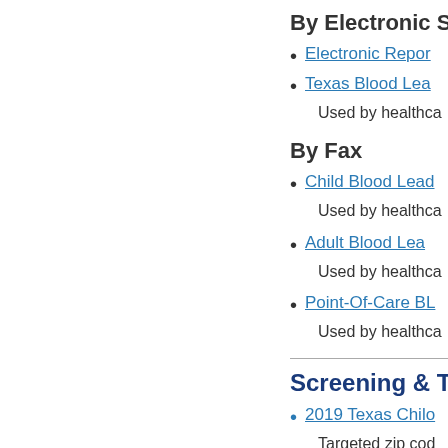By Electronic Su
Electronic Repor
Texas Blood Lea
Used by healthca
By Fax
Child Blood Lead
Used by healthca
Adult Blood Lead
Used by healthca
Point-Of-Care BL
Used by healthca
Screening & T
2019 Texas Chilo
Targeted zip cod
The percentage
(Prevalence), or